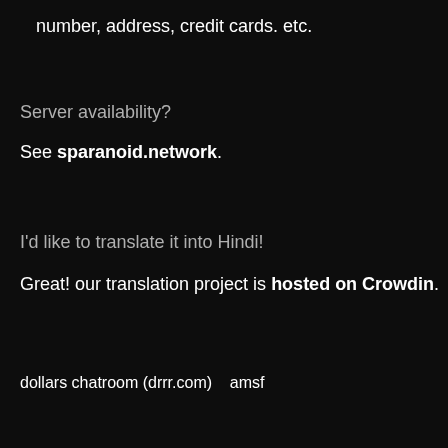number, address, credit cards. etc.
Server availability?
See sparanoid.network.
I'd like to translate it into Hindi!
Great! our translation project is hosted on Crowdin.
dollars chatroom (drrr.com)    amsf